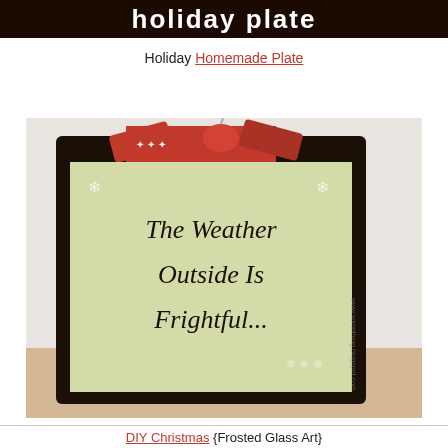[Figure (photo): Dark brown/black banner at the top with white text partially visible reading 'holiday plate']
Holiday Homemade Plate
[Figure (photo): A black square shadow box frame decorated with a red and white Christmas ribbon bow on top, containing a frosted glass panel with script text reading 'The Weather Outside Is Frightful...' on a light green background with snowflake decorations. The frame sits on a wooden surface.]
DIY Christmas {Frosted Glass Art}